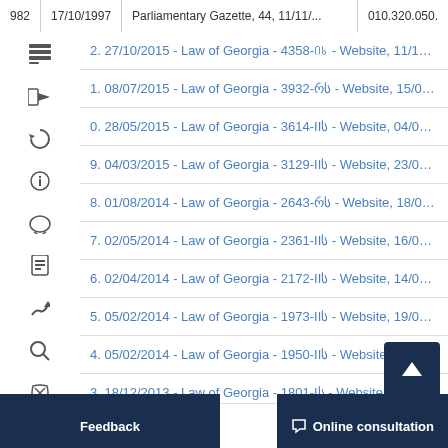| 982 | 17/10/1997 | Parliamentary Gazette, 44, 11/11/... | 010.320.050. |
| --- | --- | --- | --- |
2. 27/10/2015 - Law of Georgia - 4358-Ის - Website, 11/11/2015
1. 08/07/2015 - Law of Georgia - 3932-რს - Website, 15/07/2015
0. 28/05/2015 - Law of Georgia - 3614-IIს - Website, 04/06/2015
9. 04/03/2015 - Law of Georgia - 3129-IIს - Website, 23/03/2015
8. 01/08/2014 - Law of Georgia - 2643-რს - Website, 18/08/2014
7. 02/05/2014 - Law of Georgia - 2361-IIს - Website, 16/05/2014
6. 02/04/2014 - Law of Georgia - 2172-IIს - Website, 14/04/2014
5. 05/02/2014 - Law of Georgia - 1973-IIს - Website, 19/02/2014 -
4. 05/02/2014 - Law of Georgia - 1950-IIს - Website, 17/02/2014
3. 18/12/2013 - Law of Georgia - 1801-Iს - Website, 28/12/2013